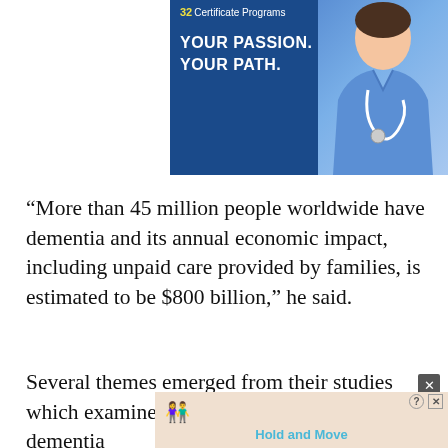[Figure (illustration): Advertisement banner with dark blue background showing a nurse/healthcare professional in blue scrubs with stethoscope, text reading '32 Certificate Programs', 'YOUR PASSION. YOUR PATH.']
“More than 45 million people worldwide have dementia and its annual economic impact, including unpaid care provided by families, is estimated to be $800 billion,” he said.
Several themes emerged from their studies which examined whether trends in dementia
[Figure (illustration): Advertisement banner for 'Hold and Move' mobile game/app showing cartoon blue figures on wooden blocks background]